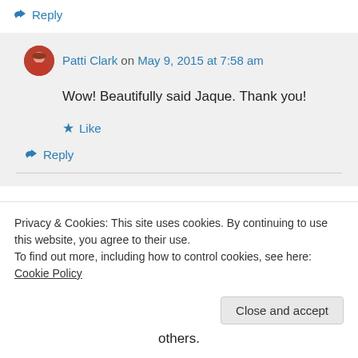↪ Reply
Patti Clark on May 9, 2015 at 7:58 am
Wow! Beautifully said Jaque. Thank you!
★ Like
↪ Reply
Privacy & Cookies: This site uses cookies. By continuing to use this website, you agree to their use. To find out more, including how to control cookies, see here: Cookie Policy
Close and accept
others.